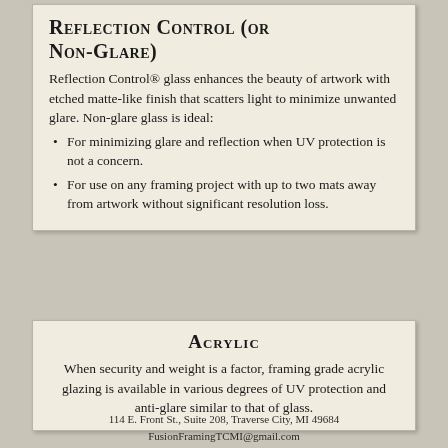Reflection Control (or Non-Glare)
Reflection Control® glass enhances the beauty of artwork with etched matte-like finish that scatters light to minimize unwanted glare. Non-glare glass is ideal:
For minimizing glare and reflection when UV protection is not a concern.
For use on any framing project with up to two mats away from artwork without significant resolution loss.
Acrylic
When security and weight is a factor, framing grade acrylic glazing is available in various degrees of UV protection and anti-glare similar to that of glass.
114 E. Front St., Suite 208, Traverse City, MI 49684
FusionFramingTCMI@gmail.com